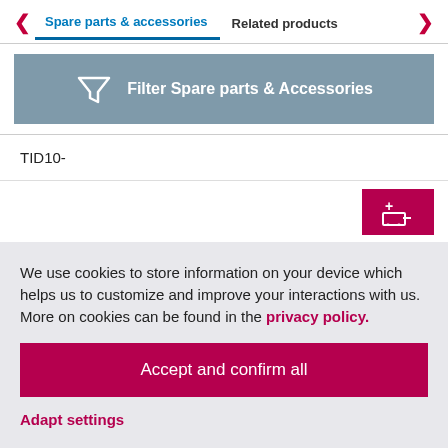Spare parts & accessories | Related products
[Figure (screenshot): Filter Spare parts & Accessories button with funnel icon on grey-blue background]
TID10-
[Figure (screenshot): Magenta add-to-cart button with plus and cart icon]
We use cookies to store information on your device which helps us to customize and improve your interactions with us. More on cookies can be found in the privacy policy.
Accept and confirm all
Adapt settings